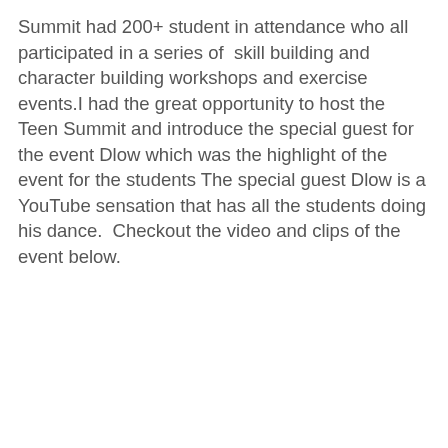Summit had 200+ student in attendance who all participated in a series of  skill building and character building workshops and exercise events.I had the great opportunity to host the Teen Summit and introduce the special guest for the event Dlow which was the highlight of the event for the students The special guest Dlow is a YouTube sensation that has all the students doing his dance.  Checkout the video and clips of the event below.
[Figure (screenshot): Instagram profile card for @adrivthegogetta with 11.8K followers, a View profile button, and a photo showing people at an indoor event with brick wall background.]